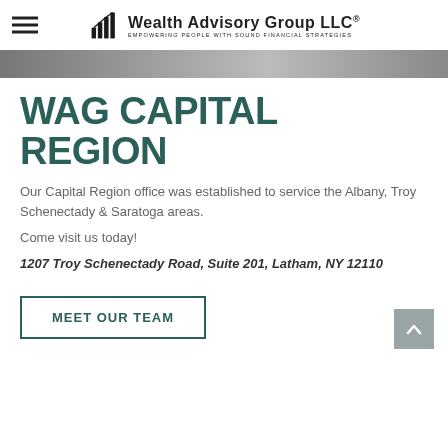Wealth Advisory Group LLC® — EMPOWERING PEOPLE WITH SOUND FINANCIAL STRATEGIES
[Figure (photo): Partial hero/banner image at top of page, showing blurred background scenery in dark tones]
WAG CAPITAL REGION
Our Capital Region office was established to service the Albany, Troy Schenectady & Saratoga areas.
Come visit us today!
1207 Troy Schenectady Road, Suite 201, Latham, NY 12110
MEET OUR TEAM